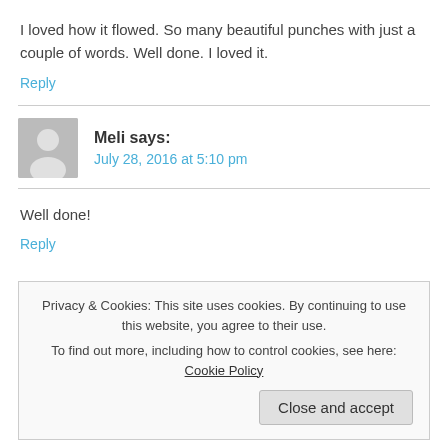I loved how it flowed. So many beautiful punches with just a couple of words. Well done. I loved it.
Reply
Meli says:
July 28, 2016 at 5:10 pm
Well done!
Reply
Privacy & Cookies: This site uses cookies. By continuing to use this website, you agree to their use.
To find out more, including how to control cookies, see here: Cookie Policy
Close and accept